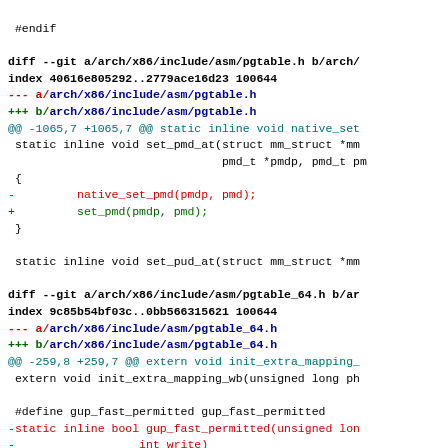#endif

diff --git a/arch/x86/include/asm/pgtable.h b/arch/
index 40616e805292..2779ace16d23 100644
--- a/arch/x86/include/asm/pgtable.h
+++ b/arch/x86/include/asm/pgtable.h
@@ -1065,7 +1065,7 @@ static inline void native_set
 static inline void set_pmd_at(struct mm_struct *mm
                               pmd_t *pmdp, pmd_t pm
 {
-         native_set_pmd(pmdp, pmd);
+         set_pmd(pmdp, pmd);
 }

 static inline void set_pud_at(struct mm_struct *mm

diff --git a/arch/x86/include/asm/pgtable_64.h b/ar
index 9c85b54bf03c..0bb566315621 100644
--- a/arch/x86/include/asm/pgtable_64.h
+++ b/arch/x86/include/asm/pgtable_64.h
@@ -259,8 +259,7 @@ extern void init_extra_mapping_
 extern void init_extra_mapping_wb(unsigned long ph

 #define gup_fast_permitted gup_fast_permitted
-static inline bool gup_fast_permitted(unsigned lon
-                  int write)
+static inline bool gup_fast_permitted(unsigned lon
 {
         unsigned long len, end;